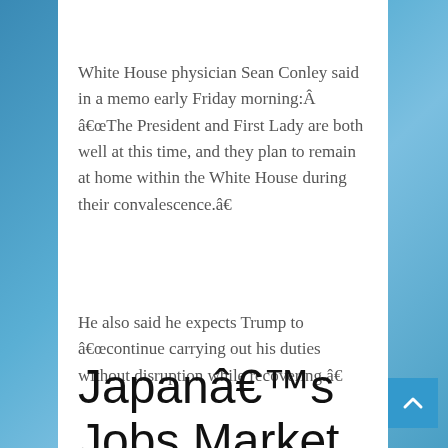White House physician Sean Conley said in a memo early Friday morning:Â  â€œThe President and First Lady are both well at this time, and they plan to remain at home within the White House during their convalescence.â€
He also said he expects Trump to â€œcontinue carrying out his duties without disruption while recovering.â€
Japanâ€™s Jobs Market Worsens